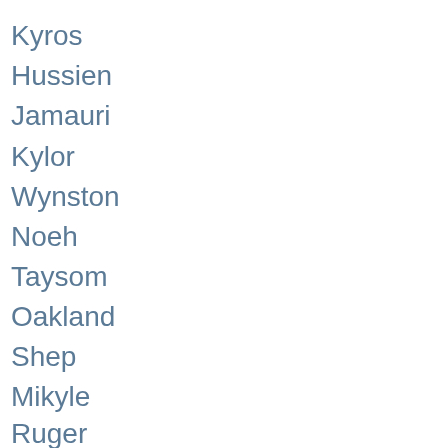Kyros
Hussien
Jamauri
Kylor
Wynston
Noeh
Taysom
Oakland
Shep
Mikyle
Ruger